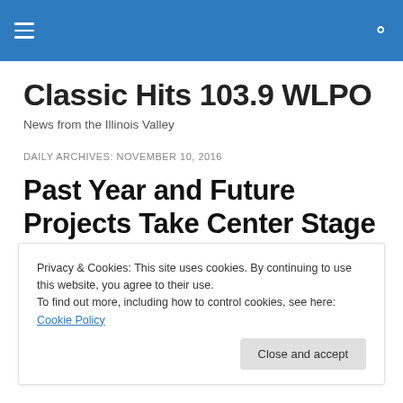Classic Hits 103.9 WLPO
Classic Hits 103.9 WLPO
News from the Illinois Valley
DAILY ARCHIVES: NOVEMBER 10, 2016
Past Year and Future Projects Take Center Stage at Ottawa
Privacy & Cookies: This site uses cookies. By continuing to use this website, you agree to their use.
To find out more, including how to control cookies, see here: Cookie Policy